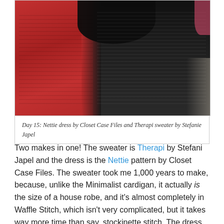[Figure (photo): Close-up photo of a red knit sweater (Therapi) and a black body-con dress (Nettie), layered together on a mannequin or body, showing the red waffle-knit texture on the left and dark knit pattern on the right.]
Day 15: Nettie dress by Closet Case Files and Therapi sweater by Stefanie Japel
Two makes in one! The sweater is Therapi by Stefani Japel and the dress is the Nettie pattern by Closet Case Files. The sweater took me 1,000 years to make, because, unlike the Minimalist cardigan, it actually is the size of a house robe, and it's almost completely in Waffle Stitch, which isn't very complicated, but it takes way more time than say, stockinette stitch. The dress is a body con dress that took me a little time to get right, only because knits are all so different and some have more stretch and others